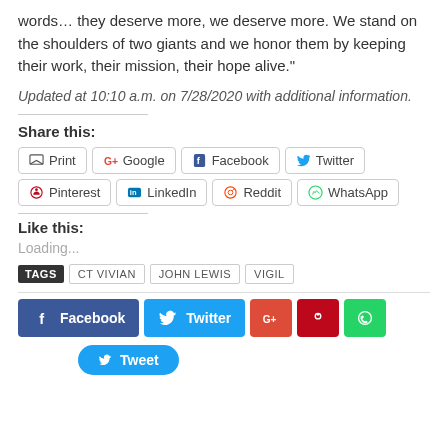words… they deserve more, we deserve more. We stand on the shoulders of two giants and we honor them by keeping their work, their mission, their hope alive."
Updated at 10:10 a.m. on 7/28/2020 with additional information.
Share this:
Print  Google  Facebook  Twitter  Pinterest  LinkedIn  Reddit  WhatsApp
Like this:
Loading...
TAGS  CT VIVIAN  JOHN LEWIS  VIGIL
Facebook  Twitter  G+  Pinterest  WhatsApp  Tweet